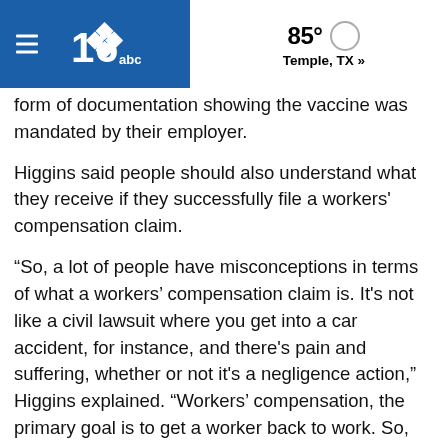85° Temple, TX »
form of documentation showing the vaccine was mandated by their employer.
Higgins said people should also understand what they receive if they successfully file a workers' compensation claim.
“So, a lot of people have misconceptions in terms of what a workers’ compensation claim is. It's not like a civil lawsuit where you get into a car accident, for instance, and there's pain and suffering, whether or not it's a negligence action,” Higgins explained. “Workers’ compensation, the primary goal is to get a worker back to work. So, what you're really getting in terms of a benefit in a workers’ compensation claim is medical benefits and indemnity benefits.”
He said medical benefits focus on helping the worker with the adverse effects they had, and indemnity benefits are a way to compensate the worker for lost time from work. Most claims related to people who missed work due to the side